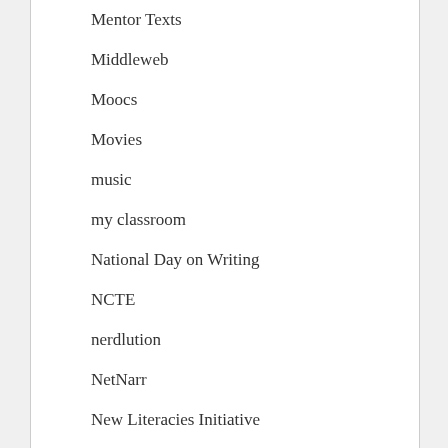Mentor Texts
Middleweb
Moocs
Movies
music
my classroom
National Day on Writing
NCTE
nerdlution
NetNarr
New Literacies Initiative
nwp
One Laptop Per Child
OnePoemEveryMonth Project
Other